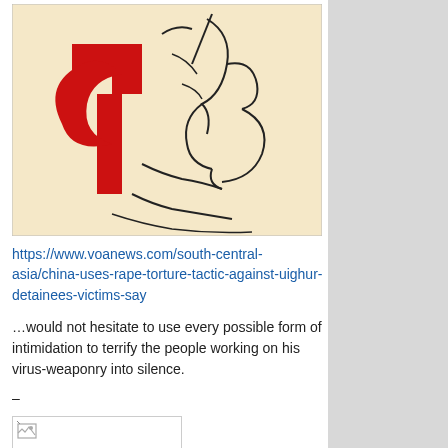[Figure (illustration): Black line drawing illustration of a figure with a large red hammer and sickle symbol overlaid on it, with a profile of a face visible in the background.]
https://www.voanews.com/south-central-asia/china-uses-rape-torture-tactic-against-uighur-detainees-victims-say
…would not hesitate to use every possible form of intimidation to terrify the people working on his virus-weaponry into silence.
–
[Figure (photo): Broken/unloaded image placeholder showing a small broken image icon in the top-left corner of a white rectangle with a border.]
–
As I've reminded readers before, Churchill said of